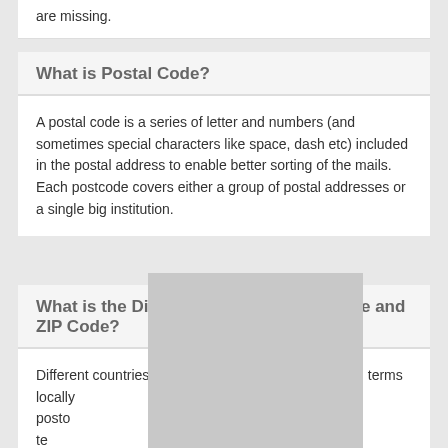are missing.
What is Postal Code?
A postal code is a series of letter and numbers (and sometimes special characters like space, dash etc) included in the postal address to enable better sorting of the mails. Each postcode covers either a group of postal addresses or a single big institution.
What is the Difference Between Postcode and ZIP Code?
Different countries in the world use different standard terms locally... postcode... uses the te... acron...